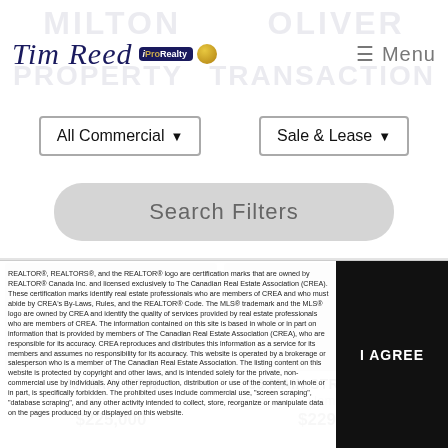Tim Reed iProRealty — Menu
All Commercial ▼
Sale & Lease ▼
Search Filters
40 MAIN ST N
Hamilton
$225,000
96 MAIN STREET E UN...
Hamilton
$229,000
REALTOR®, REALTORS®, and the REALTOR® logo are certification marks that are owned by REALTOR® Canada Inc. and licensed exclusively to The Canadian Real Estate Association (CREA). These certification marks identify real estate professionals who are members of CREA and who must abide by CREA's By-Laws, Rules, and the REALTOR® Code. The MLS® trademark and the MLS® logo are owned by CREA and identify the quality of services provided by real estate professionals who are members of CREA. The information contained on this site is based in whole or in part on information that is provided by members of The Canadian Real Estate Association (CREA), who are responsible for its accuracy. CREA reproduces and distributes this information as a service for its members and assumes no responsibility for its accuracy. This website is operated by a brokerage or salesperson who is a member of The Canadian Real Estate Association. The listing content on this website is protected by copyright and other laws, and is intended solely for the private, non-commercial use by individuals. Any other reproduction, distribution or use of the content, in whole or in part, is specifically forbidden. The prohibited uses include commercial use, "screen scraping", "database scraping", and any other activity intended to collect, store, reorganize or manipulate data on the pages produced by or displayed on this website.
I AGREE